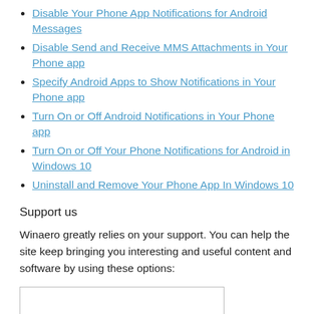Disable Your Phone App Notifications for Android Messages
Disable Send and Receive MMS Attachments in Your Phone app
Specify Android Apps to Show Notifications in Your Phone app
Turn On or Off Android Notifications in Your Phone app
Turn On or Off Your Phone Notifications for Android in Windows 10
Uninstall and Remove Your Phone App In Windows 10
Support us
Winaero greatly relies on your support. You can help the site keep bringing you interesting and useful content and software by using these options:
[Figure (other): Empty image/widget box placeholder]
If you like this article, please share it using the buttons below